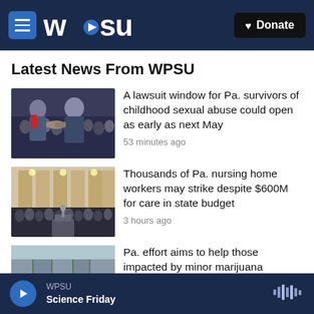WPSU — Donate
Latest News From WPSU
[Figure (photo): Two men in suits shaking hands at a formal event with a crowd in the background]
A lawsuit window for Pa. survivors of childhood sexual abuse could open as early as next May
53 minutes ago
[Figure (photo): Large crowd of people gathered inside a grand government building hall]
Thousands of Pa. nursing home workers may strike despite $600M for care in state budget
3 hours ago
[Figure (photo): Outdoor rally with a sign reading 700,000 with a cannabis leaf symbol]
Pa. effort aims to help those impacted by minor marijuana
WPSU — Science Friday